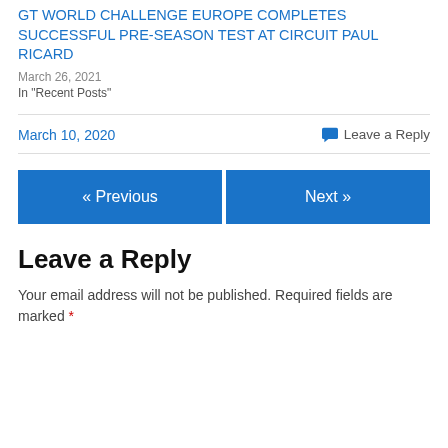GT WORLD CHALLENGE EUROPE COMPLETES SUCCESSFUL PRE-SEASON TEST AT CIRCUIT PAUL RICARD
March 26, 2021
In "Recent Posts"
March 10, 2020
Leave a Reply
« Previous
Next »
Leave a Reply
Your email address will not be published. Required fields are marked *